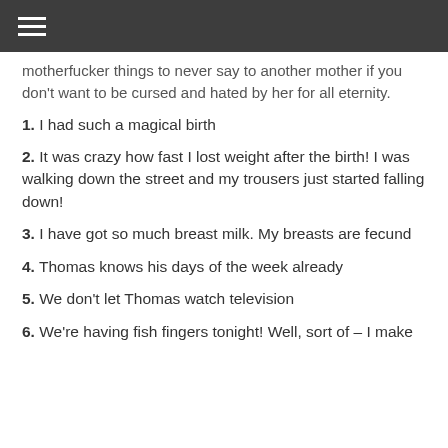☰
motherfucker things to never say to another mother if you don't want to be cursed and hated by her for all eternity.
1. I had such a magical birth
2. It was crazy how fast I lost weight after the birth! I was walking down the street and my trousers just started falling down!
3. I have got so much breast milk. My breasts are fecund
4. Thomas knows his days of the week already
5. We don't let Thomas watch television
6. We're having fish fingers tonight! Well, sort of – I make